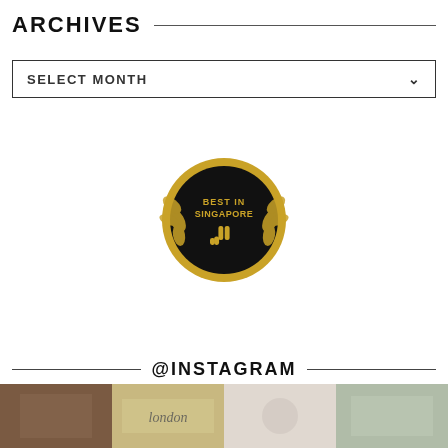ARCHIVES
SELECT MONTH
[Figure (logo): Best in Singapore badge — circular black badge with gold border/laurel wreath, text 'BEST IN SINGAPORE' and a gold hand/pointer icon]
@INSTAGRAM
[Figure (photo): Four Instagram photo thumbnails in a horizontal strip at the bottom of the page]